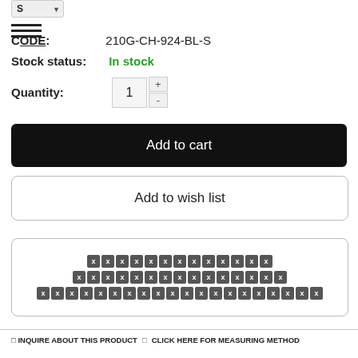[Figure (screenshot): Size selector button showing 'S' with dropdown arrow]
CODE: 210G-CH-924-BL-S
Stock status: In stock
Quantity: 1
Add to cart
Add to wish list
[Figure (other): Box with rows of placeholder X character blocks]
□ INQUIRE ABOUT THIS PRODUCT   □ CLICK HERE FOR MEASURING METHOD